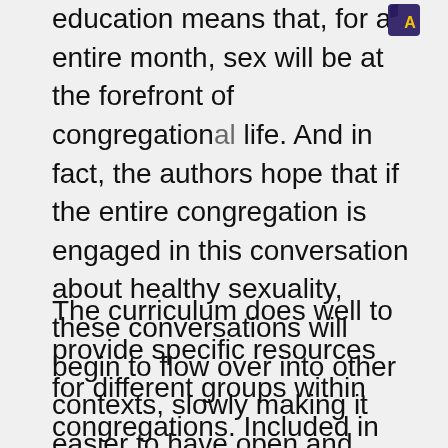education means that, for an entire month, sex will be at the forefront of congregational life. And in fact, the authors hope that if the entire congregation is engaged in this conversation about healthy sexuality, these conversations will begin to flow over into other contexts, slowly making it easier to have open and frank discussions about sex.
The curriculum does well to provide specific resources for different groups within congregations. Included in the box set are a worship leader guide, an adult study guide, a youth leader guide, a book geared towards “tweens”, a book to help parents talk about